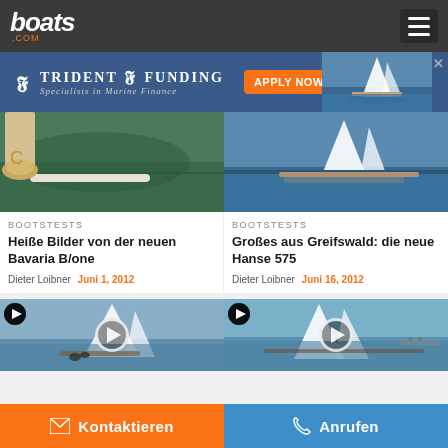boats.com
[Figure (screenshot): Trident Funding advertisement banner - Specialists in Marine Finance with Apply Now button]
[Figure (photo): Close-up of boat hull and feet with shoes on green water]
BOOTSTESTS
Heiße Bilder von der neuen Bavaria B/one
Dieter Loibner  Juni 1, 2012
[Figure (photo): Sailing yacht Hanse 575 underway on blue water]
BOOTSTESTS
Großes aus Greifswald: die neue Hanse 575
Dieter Loibner  Juni 16, 2012
[Figure (photo): Sailing video thumbnail with play button - sailboat with large sails]
[Figure (photo): Sailing video thumbnail with play button - sailing yacht on water]